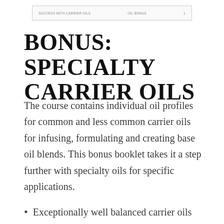SUCCESS WITH CARRIER OILS   OIL BONUS   1
BONUS: SPECIALTY CARRIER OILS
The course contains individual oil profiles for common and less common carrier oils for infusing, formulating and creating base oil blends. This bonus booklet takes it a step further with specialty oils for specific applications.
Exceptionally well balanced carrier oils